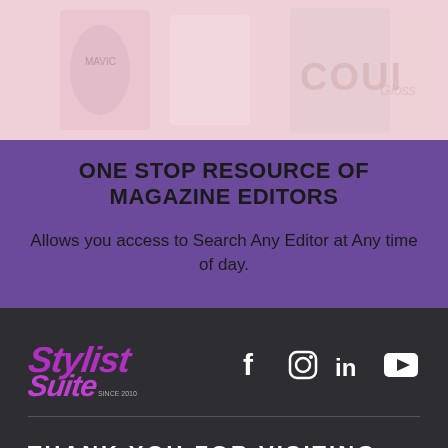[Figure (illustration): Light pink/rose background with faint illustrated magazine cover imagery, partially visible]
ONE STOP RESOURCE OF MAGAZINE EDITORS
Allows you access to Search Any Editor at Any time of day.
[Figure (logo): Stylist Suite cursive/graffiti logo in purple/magenta on dark background]
[Figure (infographic): Social media icons: Facebook, Instagram, LinkedIn, YouTube in white on dark background]
THANK YOU FOR VISITING. COME BACK AGAIN.